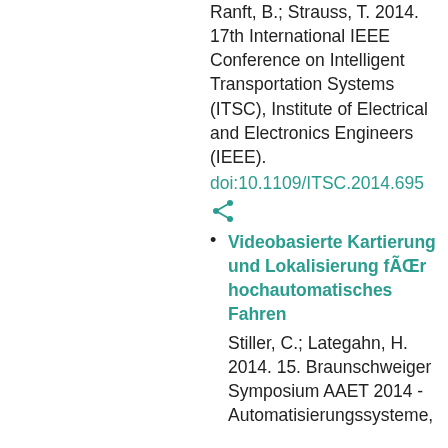Ranft, B.; Strauss, T. 2014. 17th International IEEE Conference on Intelligent Transportation Systems (ITSC), Institute of Electrical and Electronics Engineers (IEEE).
doi:10.1109/ITSC.2014.695...
Videobasierte Kartierung und Lokalisierung fÃŒr hochautomatisches Fahren
Stiller, C.; Lategahn, H. 2014. 15. Braunschweiger Symposium AAET 2014 - Automatisierungssysteme,